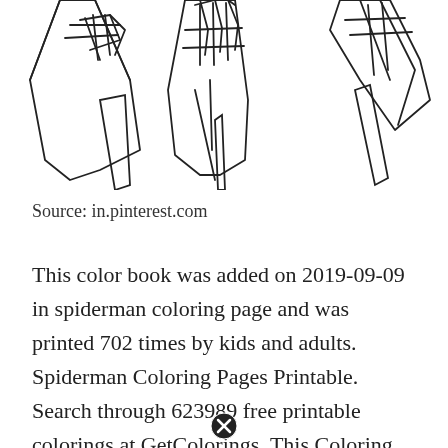[Figure (illustration): Line drawing coloring page showing Spiderman hands/gloves with web pattern detail — top portion of the image cropped, showing three hand poses against white background]
Source: in.pinterest.com
This color book was added on 2019-09-09 in spiderman coloring page and was printed 702 times by kids and adults. Spiderman Coloring Pages Printable. Search through 623989 free printable colorings at GetColorings. This Coloring page was
[Figure (illustration): Close button (circle with X) overlay at bottom center of page]